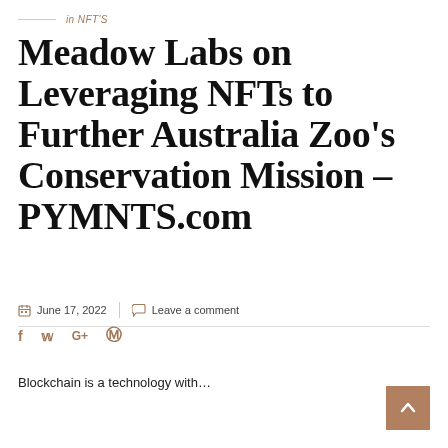in NFT'S
Meadow Labs on Leveraging NFTs to Further Australia Zoo's Conservation Mission – PYMNTS.com
June 17, 2022  Leave a comment
Blockchain is a technology with...